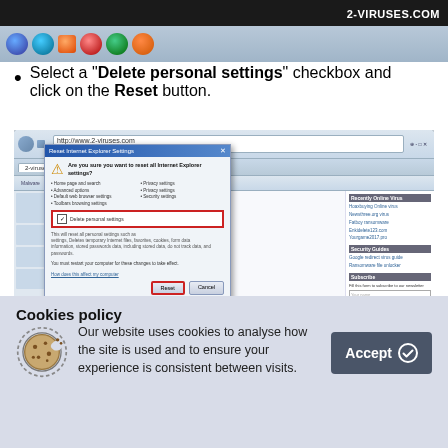[Figure (screenshot): Top portion of a browser screenshot showing taskbar and 2-viruses.com watermark]
Select a "Delete personal settings" checkbox and click on the Reset button.
[Figure (screenshot): Screenshot of Internet Explorer Reset dialog with 'Delete personal settings' checkbox highlighted in red, and Reset button highlighted in red]
Cookies policy
Our website uses cookies to analyse how the site is used and to ensure your experience is consistent between visits.